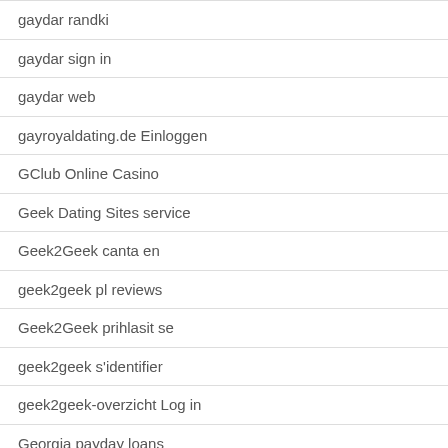gaydar randki
gaydar sign in
gaydar web
gayroyaldating.de Einloggen
GClub Online Casino
Geek Dating Sites service
Geek2Geek canta en
geek2geek pl reviews
Geek2Geek prihlasit se
geek2geek s'identifier
geek2geek-overzicht Log in
Georgia payday loans
georgia-atlanta-dating dating